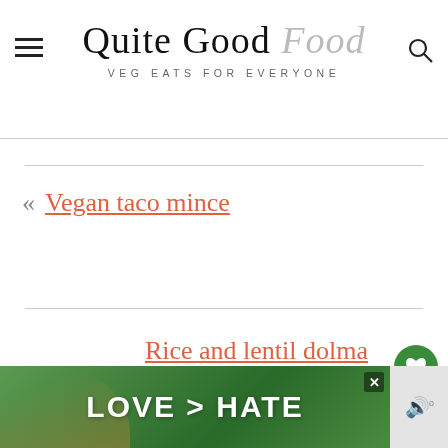Quite Good Food — VEG EATS FOR EVERYONE
« Vegan taco mince
Rice and lentil dolma
WHAT'S NEXT → Peanut butter and chia jell...
[Figure (photo): Advertisement banner: LOVE > HATE with hands making heart shape, green outdoor background]